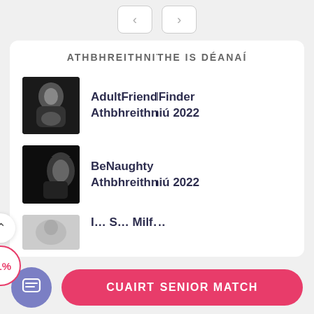[Figure (screenshot): Navigation previous and next arrow buttons]
ATHBHREITHNITHE IS DÉANAÍ
[Figure (photo): Black and white photo for AdultFriendFinder review]
AdultFriendFinder Athbhreithniú 2022
[Figure (photo): Black and white photo for BeNaughty review]
BeNaughty Athbhreithniú 2022
[Figure (photo): Partially visible photo for third review]
I... S... Milf...
[Figure (infographic): 91% scroll badge circle]
CUAIRT SENIOR MATCH